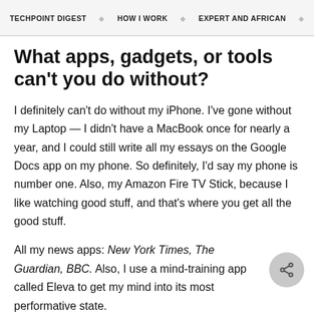TECHPOINT DIGEST   HOW I WORK   EXPERT AND AFRICAN   EQUITY
What apps, gadgets, or tools can't you do without?
I definitely can't do without my iPhone. I've gone without my Laptop — I didn't have a MacBook once for nearly a year, and I could still write all my essays on the Google Docs app on my phone. So definitely, I'd say my phone is number one. Also, my Amazon Fire TV Stick, because I like watching good stuff, and that's where you get all the good stuff.
All my news apps: New York Times, The Guardian, BBC. Also, I use a mind-training app called Eleva to get my mind into its most performative state.